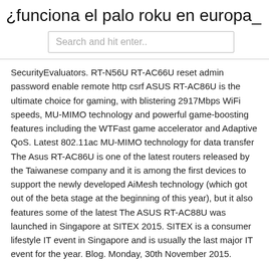¿funciona el palo roku en europa_
Search and hit enter..
SecurityEvaluators. RT-N56U RT-AC66U reset admin password enable remote http csrf ASUS RT-AC86U is the ultimate choice for gaming, with blistering 2917Mbps WiFi speeds, MU-MIMO technology and powerful game-boosting features including the WTFast game accelerator and Adaptive QoS. Latest 802.11ac MU-MIMO technology for data transfer The Asus RT-AC86U is one of the latest routers released by the Taiwanese company and it is among the first devices to support the newly developed AiMesh technology (which got out of the beta stage at the beginning of this year), but it also features some of the latest The ASUS RT-AC88U was launched in Singapore at SITEX 2015. SITEX is a consumer lifestyle IT event in Singapore and is usually the last major IT event for the year. Blog. Monday, 30th November 2015.
Cómo obtener la contraseña/password SIP de